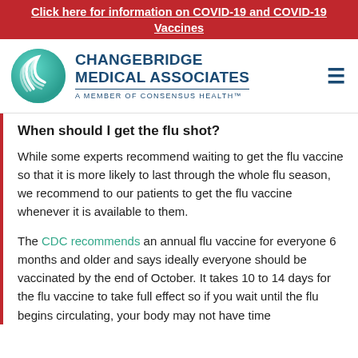Click here for information on COVID-19 and COVID-19 Vaccines
[Figure (logo): Changebridge Medical Associates logo with teal circular swoosh icon and text 'A Member of Consensus Health']
When should I get the flu shot?
While some experts recommend waiting to get the flu vaccine so that it is more likely to last through the whole flu season, we recommend to our patients to get the flu vaccine whenever it is available to them.
The CDC recommends an annual flu vaccine for everyone 6 months and older and says ideally everyone should be vaccinated by the end of October. It takes 10 to 14 days for the flu vaccine to take full effect so if you wait until the flu begins circulating, your body may not have time